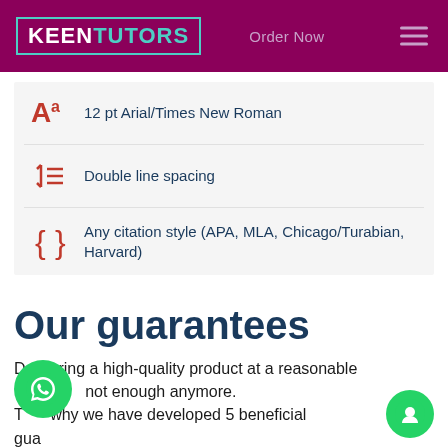KEENTUTORS  Order Now
12 pt Arial/Times New Roman
Double line spacing
Any citation style (APA, MLA, Chicago/Turabian, Harvard)
Our guarantees
Delivering a high-quality product at a reasonable price is not enough anymore. That is why we have developed 5 beneficial guarantees that will make your experience with